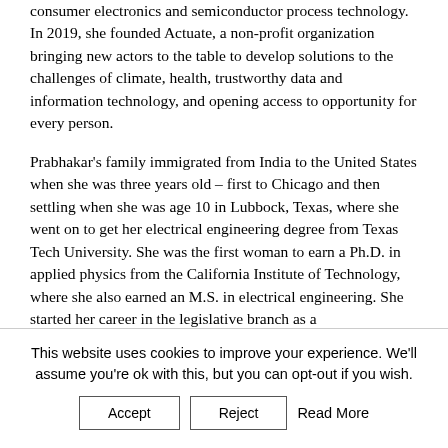consumer electronics and semiconductor process technology. In 2019, she founded Actuate, a non-profit organization bringing new actors to the table to develop solutions to the challenges of climate, health, trustworthy data and information technology, and opening access to opportunity for every person.
Prabhakar's family immigrated from India to the United States when she was three years old – first to Chicago and then settling when she was age 10 in Lubbock, Texas, where she went on to get her electrical engineering degree from Texas Tech University. She was the first woman to earn a Ph.D. in applied physics from the California Institute of Technology, where she also earned an M.S. in electrical engineering. She started her career in the legislative branch as a
This website uses cookies to improve your experience. We'll assume you're ok with this, but you can opt-out if you wish.